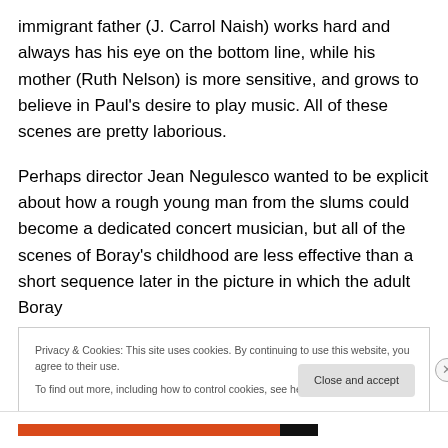immigrant father (J. Carrol Naish) works hard and always has his eye on the bottom line, while his mother (Ruth Nelson) is more sensitive, and grows to believe in Paul's desire to play music. All of these scenes are pretty laborious.
Perhaps director Jean Negulesco wanted to be explicit about how a rough young man from the slums could become a dedicated concert musician, but all of the scenes of Boray's childhood are less effective than a short sequence later in the picture in which the adult Boray
Privacy & Cookies: This site uses cookies. By continuing to use this website, you agree to their use.
To find out more, including how to control cookies, see here: Cookie Policy